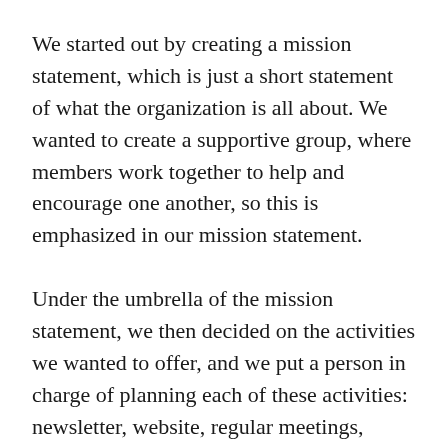We started out by creating a mission statement, which is just a short statement of what the organization is all about. We wanted to create a supportive group, where members work together to help and encourage one another, so this is emphasized in our mission statement.
Under the umbrella of the mission statement, we then decided on the activities we wanted to offer, and we put a person in charge of planning each of these activities: newsletter, website, regular meetings, workshops, and sale. (We later added special events like group pit firings.) We wanted to have some activities in the works when we started recruiting members, so we